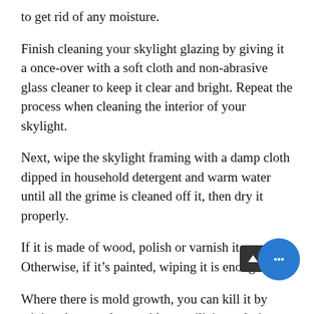to get rid of any moisture.
Finish cleaning your skylight glazing by giving it a once-over with a soft cloth and non-abrasive glass cleaner to keep it clear and bright. Repeat the process when cleaning the interior of your skylight.
Next, wipe the skylight framing with a damp cloth dipped in household detergent and warm water until all the grime is cleaned off it, then dry it properly.
If it is made of wood, polish or varnish it, as well. Otherwise, if it’s painted, wiping it is enough.
Where there is mold growth, you can kill it by wiping the area down with a sterilizing solution made of 1 part bleach to 10 parts water.
Then, rinse the area with clean water and apply a protective coating such as varnish or paint, depending on the surface.